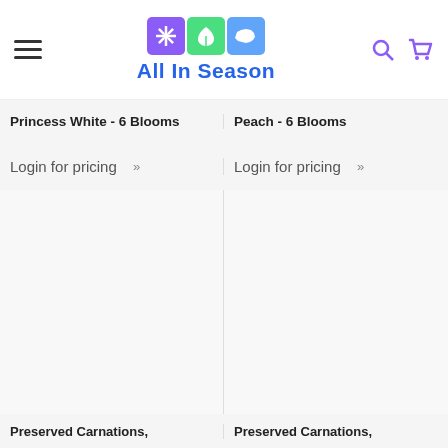[Figure (logo): All In Season website header with logo, hamburger menu, search icon and cart icon]
Princess White - 6 Blooms
Peach - 6 Blooms
Login for pricing »
Login for pricing »
[Figure (photo): Product image placeholder - left column]
[Figure (photo): Product image placeholder - right column]
Preserved Carnations,
Preserved Carnations,